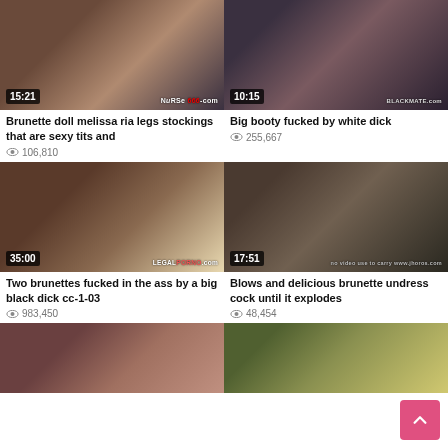[Figure (screenshot): Thumbnail image with duration 15:21 and watermark NURSE666.com]
Brunette doll melissa ria legs stockings that are sexy tits and
106,810 views
[Figure (screenshot): Thumbnail image with duration 10:15 and watermark BLACKMANTE.com]
Big booty fucked by white dick
255,667 views
[Figure (screenshot): Thumbnail image with duration 35:00 and watermark LEGALPORNO.com]
Two brunettes fucked in the ass by a big black dick cc-1-03
983,450 views
[Figure (screenshot): Thumbnail image with duration 17:51]
Blows and delicious brunette undress cock until it explodes
48,454 views
[Figure (screenshot): Partial thumbnail bottom-left]
[Figure (screenshot): Partial thumbnail bottom-right]